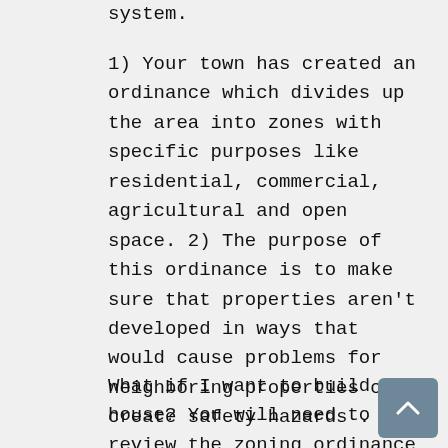system.
1) Your town has created an ordinance which divides up the area into zones with specific purposes like residential, commercial, agricultural and open space. 2) The purpose of this ordinance is to make sure that properties aren't developed in ways that would cause problems for neighboring properties or create safety hazards .
What if I want to build a house? You will need to review the zoning ordinance in your town and find out which zone you are allowed to